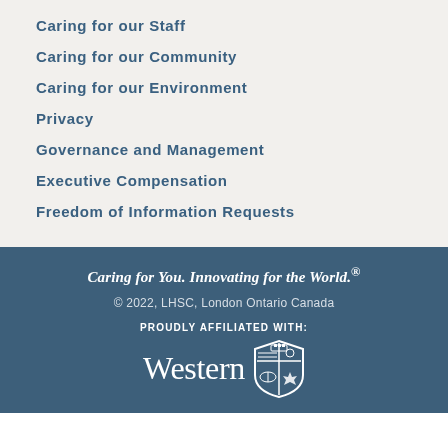Caring for our Staff
Caring for our Community
Caring for our Environment
Privacy
Governance and Management
Executive Compensation
Freedom of Information Requests
Caring for You. Innovating for the World.®
© 2022, LHSC, London Ontario Canada
PROUDLY AFFILIATED WITH:
[Figure (logo): Western University logo with shield crest]